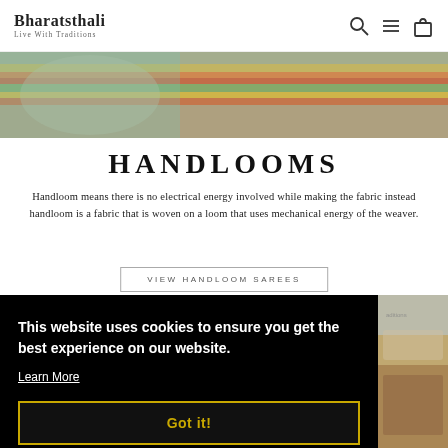Bharatsthali — Live With Traditions
[Figure (photo): Colorful handloom fabric/saree being woven, partial view showing vibrant threads]
HANDLOOMS
Handloom means there is no electrical energy involved while making the fabric instead handloom is a fabric that is woven on a loom that uses mechanical energy of the weaver.
VIEW HANDLOOM SAREES
This website uses cookies to ensure you get the best experience on our website.
Learn More
Got it!
[Figure (photo): Partial view of products/images in background behind cookie banner]
[Figure (photo): Bottom partial images showing colorful sarees/fabric]